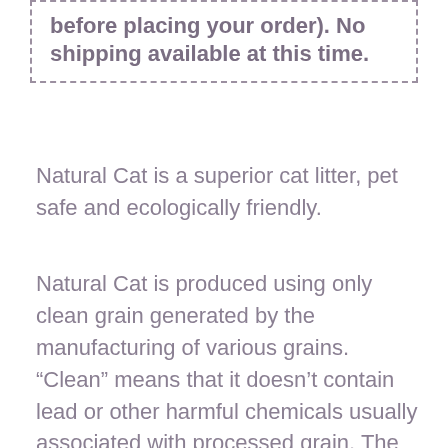before placing your order). No shipping available at this time.
Natural Cat is a superior cat litter, pet safe and ecologically friendly.
Natural Cat is produced using only clean grain generated by the manufacturing of various grains. “Clean” means that it doesn’t contain lead or other harmful chemicals usually associated with processed grain. The clean grains are washed and dried before adding these biological ingredients together. Finally, it is transformed into a granular texture that is